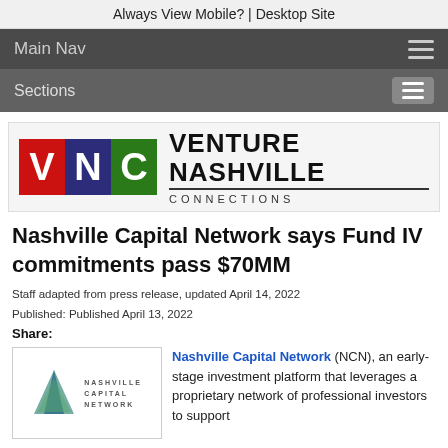Always View Mobile?  |  Desktop Site
Main Nav
Sections
[Figure (logo): Venture Nashville Connections logo with VNC colored blocks and text]
Nashville Capital Network says Fund IV commitments pass $70MM
Staff adapted from press release, updated April 14, 2022
Published: Published April 13, 2022
Share:
[Figure (logo): Nashville Capital Network logo with teal/green triangle and wordmark]
Nashville Capital Network (NCN), an early-stage investment platform that leverages a proprietary network of professional investors to support